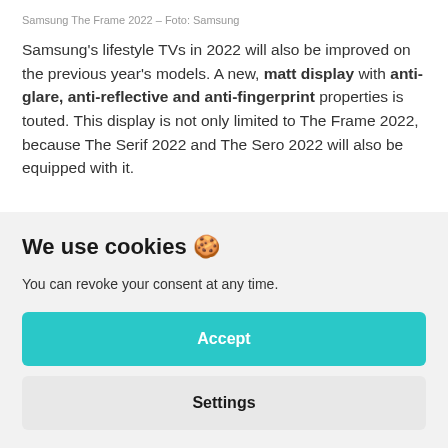Samsung The Frame 2022 – Foto: Samsung
Samsung's lifestyle TVs in 2022 will also be improved on the previous year's models. A new, matt display with anti-glare, anti-reflective and anti-fingerprint properties is touted. This display is not only limited to The Frame 2022, because The Serif 2022 and The Sero 2022 will also be equipped with it.
We use cookies 🍪
You can revoke your consent at any time.
Accept
Settings